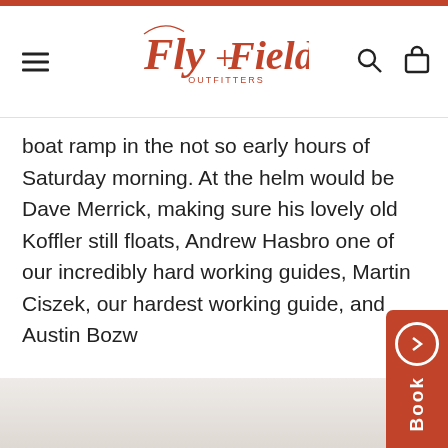Fly+Field Outfitters — navigation header with hamburger menu, logo, search and cart icons
boat ramp in the not so early hours of Saturday morning. At the helm would be Dave Merrick, making sure his lovely old Koffler still floats, Andrew Hasbro one of our incredibly hard working guides, Martin Ciszek, our hardest working guide, and Austin Bozw
[Figure (photo): Blurred/faded photograph strip visible at the bottom of the page, partially obscured]
[Figure (other): Orange 'Book' button/tab overlaid on the right side of the page]